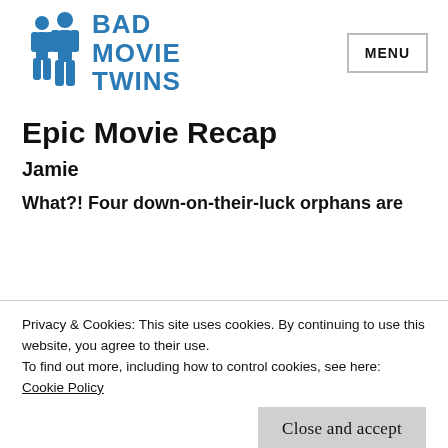[Figure (logo): Bad Movie Twins logo: two blue silhouette figures standing side by side, with the text 'Bad Movie Twins' in blue uppercase letters to the right]
Epic Movie Recap
Jamie
What?! Four down-on-their-luck orphans are
Privacy & Cookies: This site uses cookies. By continuing to use this website, you agree to their use.
To find out more, including how to control cookies, see here:
Cookie Policy
Close and accept
restore freedom to Gharnia? Find out in... Epic